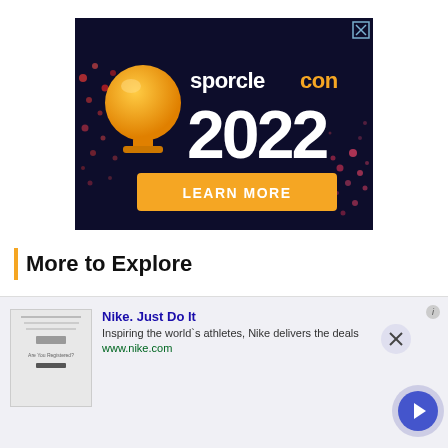[Figure (illustration): SporcleCon 2022 advertisement banner with dark navy background, orange trophy/globe icon, 'sporclecon' wordmark in white and orange, '2022' in large white bold text, and an orange 'LEARN MORE' button. Decorative colored dots pattern on left and right sides. X close button in top right corner.]
More to Explore
[Figure (screenshot): Nike advertisement banner with light gray background. Shows a small thumbnail image on the left (appears to be a quiz/webpage screenshot). Text reads 'Nike. Just Do It' in blue bold, 'Inspiring the world's athletes, Nike delivers the deals' in dark text, 'www.nike.com' in green. Has an 'i' info label in top right, an X close button, and a blue circular navigation arrow button on the right side.]